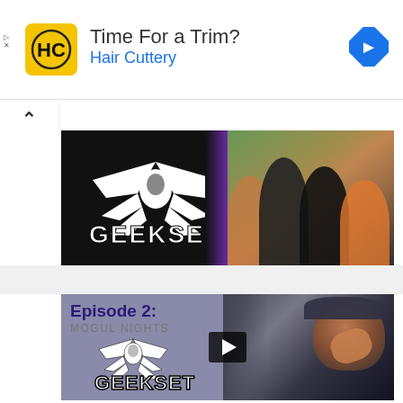[Figure (screenshot): Advertisement banner for Hair Cuttery. Shows HC logo in yellow square, text 'Time For a Trim?' and 'Hair Cuttery' in blue, with a blue diamond navigation arrow on the right.]
[Figure (screenshot): Geekset video thumbnail showing the Geekset logo on black background with purple diagonal split leading to a photo of several bearded men in dark t-shirts.]
[Figure (screenshot): Geekset Episode 2: Mogul Nights video thumbnail showing 'Episode 2: MOGUL NIGHTS' text with Geekset logo on gray/purple background with photo of man laughing, wearing a cap.]